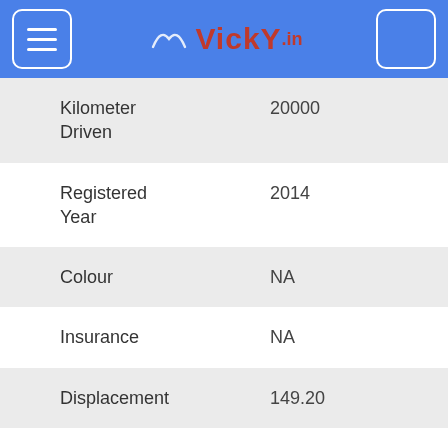vicky.in
| Field | Value |
| --- | --- |
| Kilometer Driven | 20000 |
| Registered Year | 2014 |
| Colour | NA |
| Insurance | NA |
| Displacement | 149.20 |
| Engine Type | Air Cooled, 4 Stroke Single Cylinder OHC |
Description: